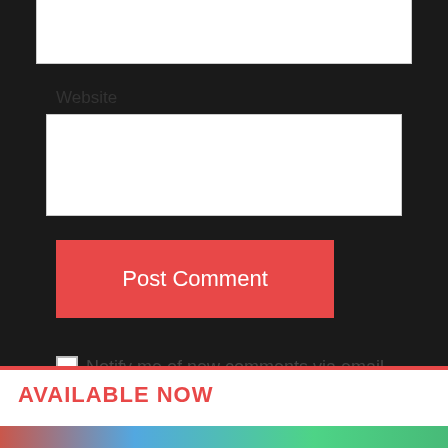Website
Post Comment
Notify me of new comments via email.
Notify me of new posts via email.
AVAILABLE NOW